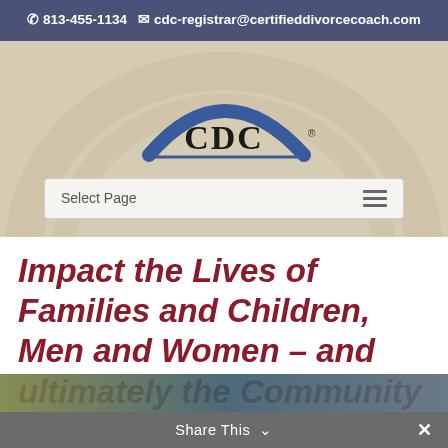813-455-1134   cdc-registrar@certifieddivorcecoach.com
[Figure (logo): CDC logo with blue arch over 'CDC' text on beige/tan background with decorative arc watermark]
Select Page
Impact the Lives of Families and Children, Men and Women – and ultimately the Community
[Figure (photo): Partial landscape/outdoor photo strip at bottom of page]
Share This